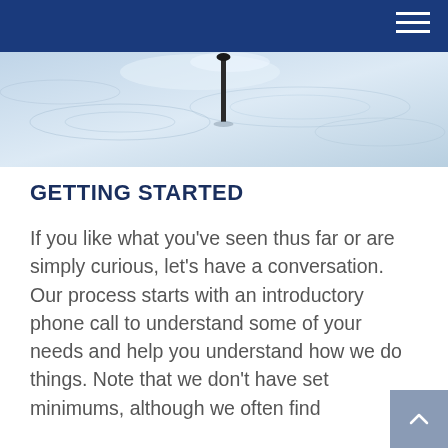[Figure (photo): Close-up aerial or macro photo of water surface with a dark nail or pin standing upright in the center, mist or water spray visible]
GETTING STARTED
If you like what you've seen thus far or are simply curious, let's have a conversation. Our process starts with an introductory phone call to understand some of your needs and help you understand how we do things. Note that we don't have set minimums, although we often find